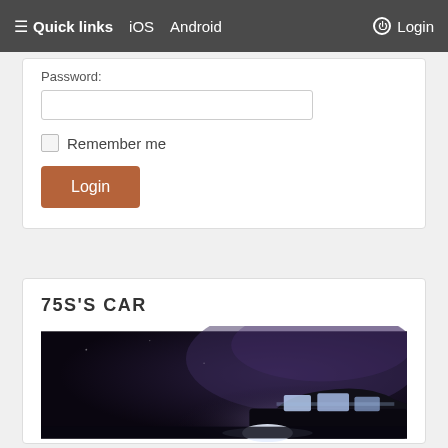≡ Quick links  iOS  Android  ⏻ Login
Password:
Remember me
Login
75S'S CAR
[Figure (photo): Night-time photograph of a car, dark sky with purple/blue haze and vehicle headlights visible at bottom]